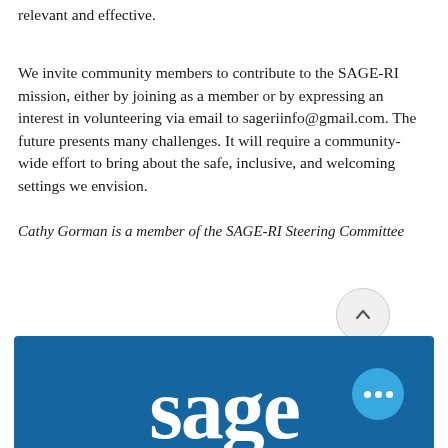relevant and effective.
We invite community members to contribute to the SAGE-RI mission, either by joining as a member or by expressing an interest in volunteering via email to sageriinfo@gmail.com. The future presents many challenges. It will require a community-wide effort to bring about the safe, inclusive, and welcoming settings we envision.
Cathy Gorman is a member of the SAGE-RI Steering Committee
[Figure (logo): SAGE organization logo — white serif text 'sage' on a dark blue background rectangle]